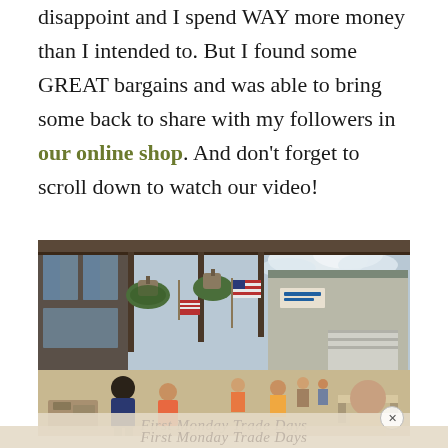disappoint and I spend WAY more money than I intended to. But I found some GREAT bargains and was able to bring some back to share with my followers in our online shop. And don't forget to scroll down to watch our video!
[Figure (photo): Outdoor market scene with people browsing vendors under a covered walkway, with hanging plants and an American flag visible. Building structures and a large warehouse-style building in background.]
First Monday Trade Days